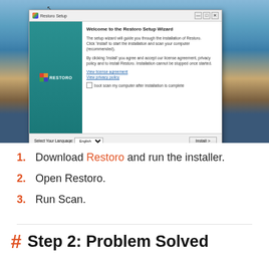[Figure (screenshot): Screenshot of Restoro Setup Wizard installer dialog on a Windows desktop background showing beach/cliffs. The dialog has a teal sidebar with RESTORO logo, Welcome to the Restoro Setup Wizard heading, installation instructions text, license agreement links, language selector set to English, and Install button.]
1. Download Restoro and run the installer.
2. Open Restoro.
3. Run Scan.
# Step 2: Problem Solved